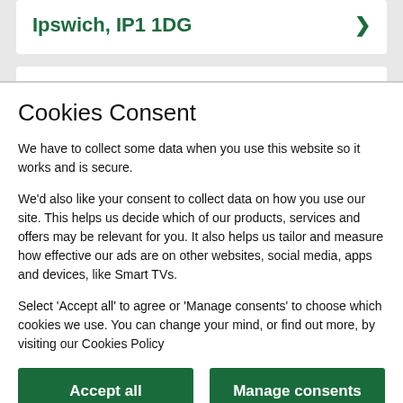Ipswich, IP1 1DG
0345 602 1997
Cookies Consent
We have to collect some data when you use this website so it works and is secure.
We'd also like your consent to collect data on how you use our site. This helps us decide which of our products, services and offers may be relevant for you. It also helps us tailor and measure how effective our ads are on other websites, social media, apps and devices, like Smart TVs.
Select 'Accept all' to agree or 'Manage consents' to choose which cookies we use. You can change your mind, or find out more, by visiting our Cookies Policy
Accept all
Manage consents